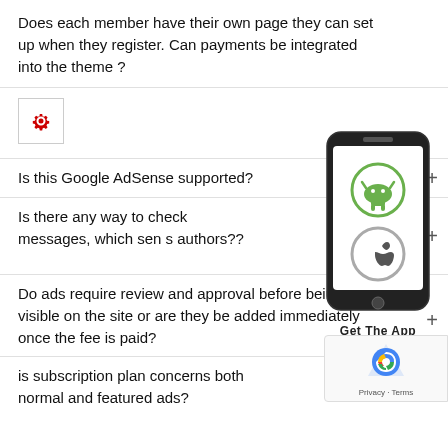Does each member have their own page they can set up when they register. Can payments be integrated into the theme ?
[Figure (illustration): Red gear/settings icon inside a bordered box]
Is this Google AdSense supported?
[Figure (illustration): Mobile phone graphic with Android and Apple icons and 'Get The App' label]
Is there any way to check messages, which sent messages to authors??
Do ads require review and approval before being visible on the site or are they be added immediately once the fee is paid?
is subscription plan concerns both normal and featured ads?
[Figure (logo): Google reCAPTCHA badge with Privacy and Terms links]